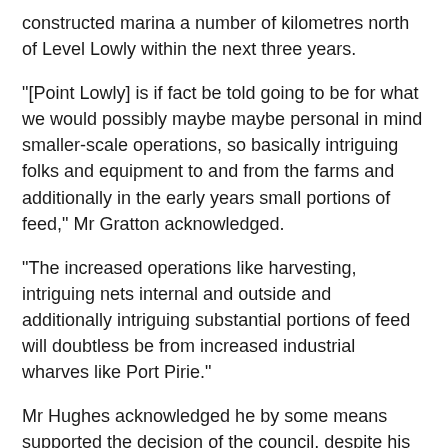constructed marina a number of kilometres north of Level Lowly within the next three years.
“[Point Lowly] is if fact be told going to be for what we would possibly maybe maybe personal in mind smaller-scale operations, so basically intriguing folks and equipment to and from the farms and additionally in the early years small portions of feed,” Mr Gratton acknowledged.
“The increased operations like harvesting, intriguing nets internal and outside and additionally intriguing substantial portions of feed will doubtless be from increased industrial wharves like Port Pirie.”
Mr Hughes acknowledged he by some means supported the decision of the council, despite his concerns over the environmental impact of the fish farm.
“What council did put … is save increased rigidity on Tremendous Seas to reach to the party about negotiating a factual extinguish